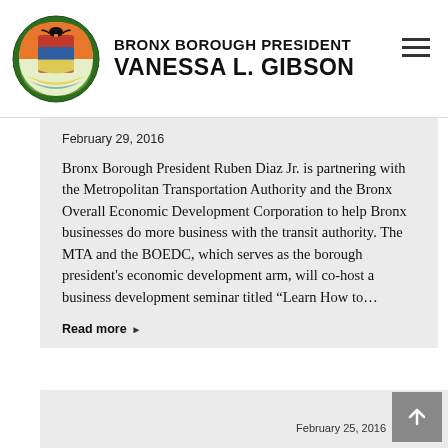BRONX BOROUGH PRESIDENT VANESSA L. GIBSON
February 29, 2016
Bronx Borough President Ruben Diaz Jr. is partnering with the Metropolitan Transportation Authority and the Bronx Overall Economic Development Corporation to help Bronx businesses do more business with the transit authority. The MTA and the BOEDC, which serves as the borough president’s economic development arm, will co-host a business development seminar titled “Learn How to...
Read more ▶